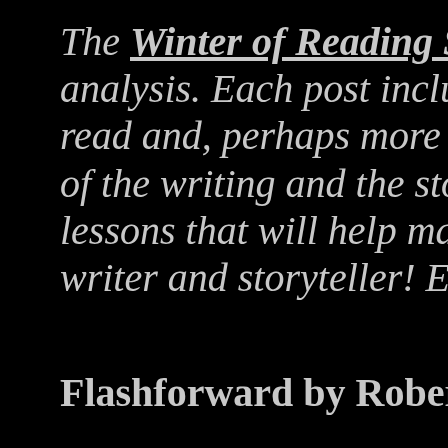The Winter of Reading Series is analysis. Each post includes both read and, perhaps more importan of the writing and the story within lessons that will help make mysel writer and storyteller! Enjoy...
Flashforward by Robert J. Saw